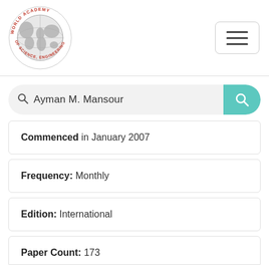[Figure (logo): World Academy of Science, Engineering and Technology circular logo with globe and red text around the border]
Ayman M. Mansour
Commenced in January 2007
Frequency: Monthly
Edition: International
Paper Count: 173